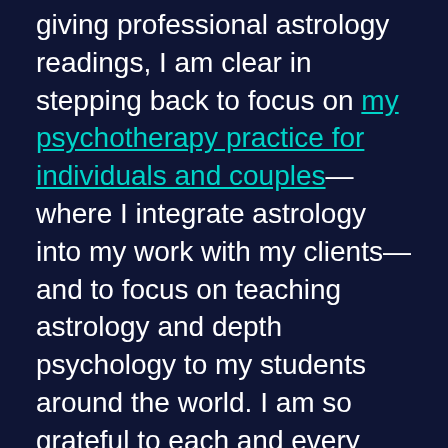giving professional astrology readings, I am clear in stepping back to focus on my psychotherapy practice for individuals and couples—where I integrate astrology into my work with my clients—and to focus on teaching astrology and depth psychology to my students around the world. I am so grateful to each and every person that gave me the honor to read for them and be a part of their life.
My heart beams with joy to pass on this scared act of giving readings to the person I